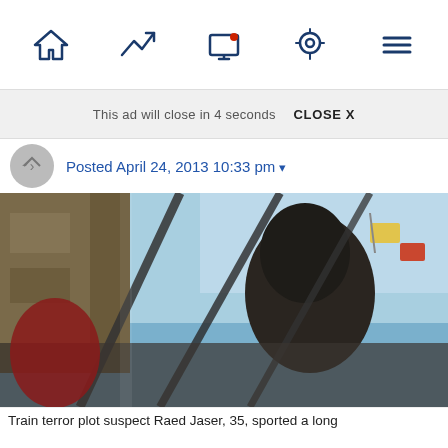Navigation bar with icons: home, trending, screen/notifications, location, menu
This ad will close in 4 seconds  CLOSE X
Posted April 24, 2013 10:33 pm ▾
[Figure (photo): Photo of a person, likely a suspect, shot from a low angle through what appear to be metal bars or railings. Blue sky visible in background with flags. Urban setting visible on left side.]
Train terror plot suspect Raed Jaser, 35, sported a long